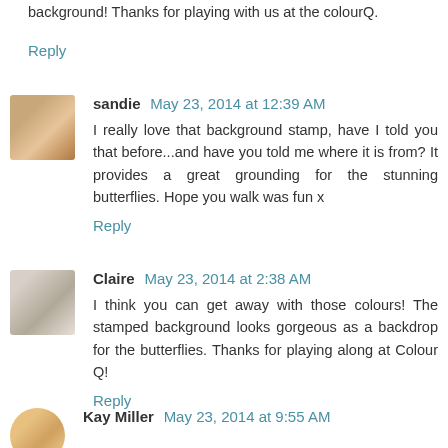background! Thanks for playing with us at the colourQ.
Reply
sandie May 23, 2014 at 12:39 AM
I really love that background stamp, have I told you that before...and have you told me where it is from? It provides a great grounding for the stunning butterflies. Hope you walk was fun x
Reply
Claire May 23, 2014 at 2:38 AM
I think you can get away with those colours! The stamped background looks gorgeous as a backdrop for the butterflies. Thanks for playing along at Colour Q!
Reply
Kay Miller May 23, 2014 at 9:55 AM